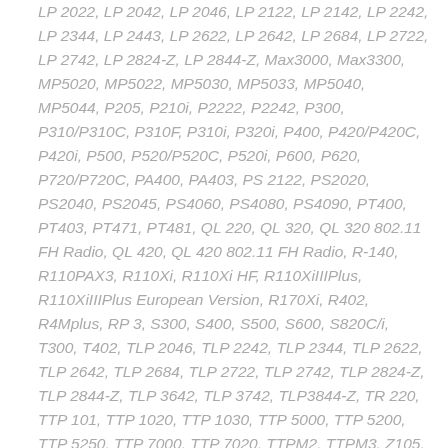LP 2022, LP 2042, LP 2046, LP 2122, LP 2142, LP 2242, LP 2344, LP 2443, LP 2622, LP 2642, LP 2684, LP 2722, LP 2742, LP 2824-Z, LP 2844-Z, Max3000, Max3300, MP5020, MP5022, MP5030, MP5033, MP5040, MP5044, P205, P210i, P2222, P2242, P300, P310/P310C, P310F, P310i, P320i, P400, P420/P420C, P420i, P500, P520/P520C, P520i, P600, P620, P720/P720C, PA400, PA403, PS 2122, PS2020, PS2040, PS2045, PS4060, PS4080, PS4090, PT400, PT403, PT471, PT481, QL 220, QL 320, QL 320 802.11 FH Radio, QL 420, QL 420 802.11 FH Radio, R-140, R110PAX3, R110Xi, R110Xi HF, R110XiIIIPlus, R110XiIIIPlus European Version, R170Xi, R402, R4Mplus, RP 3, S300, S400, S500, S600, S820C/i, T300, T402, TLP 2046, TLP 2242, TLP 2344, TLP 2622, TLP 2642, TLP 2684, TLP 2722, TLP 2742, TLP 2824-Z, TLP 2844-Z, TLP 3642, TLP 3742, TLP3844-Z, TR 220, TTP 101, TTP 1020, TTP 1030, TTP 5000, TTP 5200, TTP 5250, TTP 7000, TTP 7020, TTPM2, TTPM3, Z105, Z130, Z140, Z140-S, Z142, Z143, Z220, Z221,